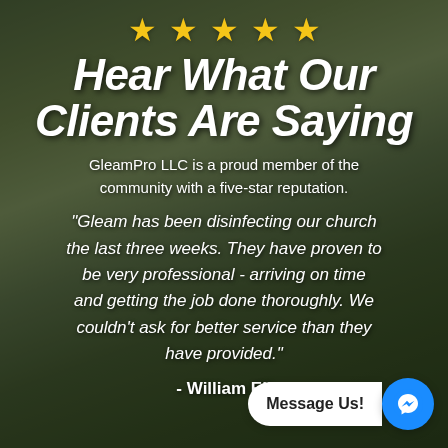[Figure (photo): Outdoor background photo showing a drainage pipe, construction equipment, green lawn, trees, and overcast sky. Dark overlay applied.]
★ ★ ★ ★ ★
Hear What Our Clients Are Saying
GleamPro LLC is a proud member of the community with a five-star reputation.
"Gleam has been disinfecting our church the last three weeks. They have proven to be very professional - arriving on time and getting the job done thoroughly. We couldn't ask for better service than they have provided."
- William Ell...
Message Us!